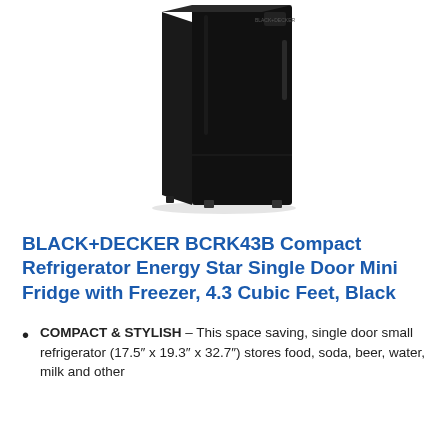[Figure (photo): Black+Decker compact mini refrigerator, black color, single door, shown at a slight angle, standing on small feet. The product is shown from the front-left perspective against a white background.]
BLACK+DECKER BCRK43B Compact Refrigerator Energy Star Single Door Mini Fridge with Freezer, 4.3 Cubic Feet, Black
COMPACT & STYLISH – This space saving, single door small refrigerator (17.5″ x 19.3″ x 32.7″) stores food, soda, beer, water, milk and other